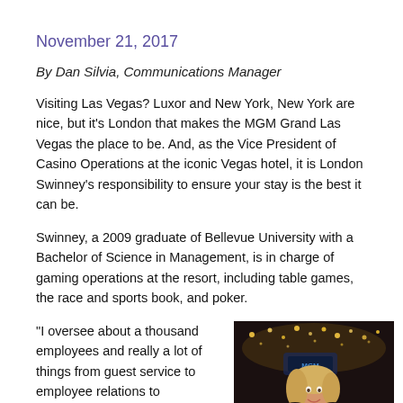November 21, 2017
By Dan Silvia, Communications Manager
Visiting Las Vegas? Luxor and New York, New York are nice, but it’s London that makes the MGM Grand Las Vegas the place to be. And, as the Vice President of Casino Operations at the iconic Vegas hotel, it is London Swinney’s responsibility to ensure your stay is the best it can be.
Swinney, a 2009 graduate of Bellevue University with a Bachelor of Science in Management, is in charge of gaming operations at the resort, including table games, the race and sports book, and poker.
“I oversee about a thousand employees and really a lot of things from guest service to employee relations to
[Figure (photo): Photo of London Swinney standing in the MGM Grand casino with decorative lights in the background]